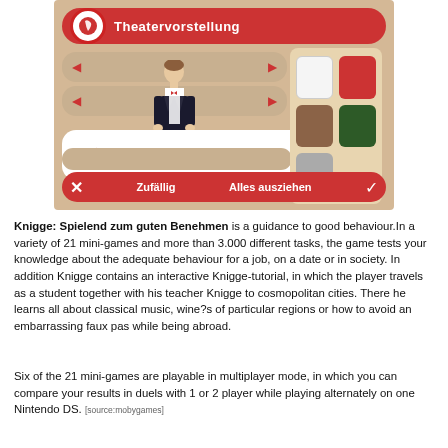[Figure (screenshot): Screenshot of the Nintendo DS game 'Knigge: Spielend zum guten Benehmen' showing a character customization screen ('Theatervorstellung') with a tuxedo-wearing character, navigation arrows, color swatches (white, red, brown, dark green, gray), and bottom bar with 'Zufällig' and 'Alles ausziehen' buttons.]
Knigge: Spielend zum guten Benehmen is a guidance to good behaviour.In a variety of 21 mini-games and more than 3.000 different tasks, the game tests your knowledge about the adequate behaviour for a job, on a date or in society. In addition Knigge contains an interactive Knigge-tutorial, in which the player travels as a student together with his teacher Knigge to cosmopolitan cities. There he learns all about classical music, wine?s of particular regions or how to avoid an embarrassing faux pas while being abroad.
Six of the 21 mini-games are playable in multiplayer mode, in which you can compare your results in duels with 1 or 2 player while playing alternately on one Nintendo DS. [source:mobygames]